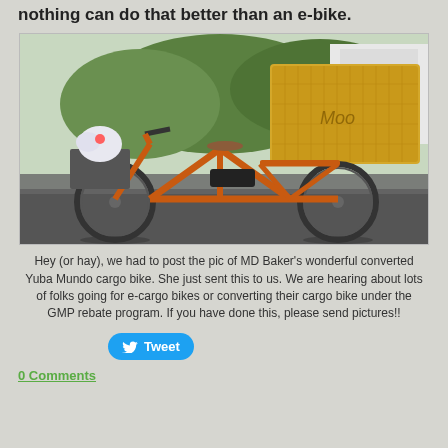nothing can do that better than an e-bike.
[Figure (photo): Orange Yuba Mundo cargo e-bike loaded with a large bale of hay on the rear cargo deck and flowers/plants on the front, parked on a gravel/asphalt surface with greenery in the background.]
Hey (or hay), we had to post the pic of MD Baker's wonderful converted Yuba Mundo cargo bike. She just sent this to us. We are hearing about lots of folks going for e-cargo bikes or converting their cargo bike under the GMP rebate program. If you have done this, please send pictures!!
Tweet
0 Comments